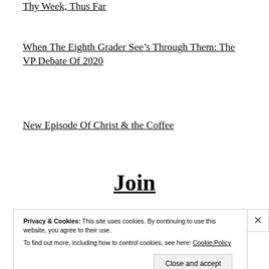Thy Week, Thus Far
When The Eighth Grader See’s Through Them: The VP Debate Of 2020
New Episode Of Christ & the Coffee
Join
Privacy & Cookies: This site uses cookies. By continuing to use this website, you agree to their use.
To find out more, including how to control cookies, see here: Cookie Policy
Close and accept